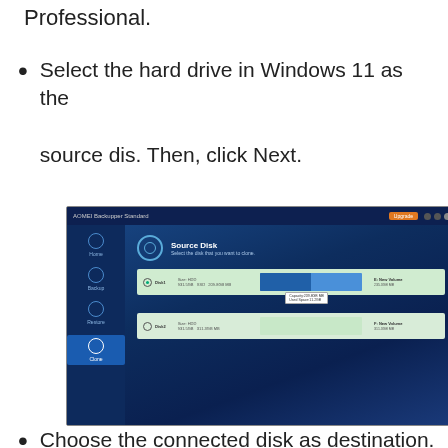Professional.
Select the hard drive in Windows 11 as the source dis. Then, click Next.
[Figure (screenshot): Screenshot of AOMEI Backupper Standard software showing the Source Disk selection screen. The interface has a dark blue background with a sidebar containing Home, Backup, Restore, and Clone options (Clone is active/highlighted). The main area shows 'Source Disk' header with two disk entries listed in green rows, each showing disk details, a capacity bar, and volume information.]
Choose the connected disk as destination.